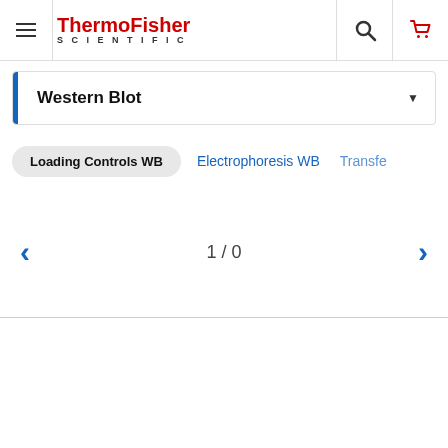ThermoFisher SCIENTIFIC
Western Blot
Loading Controls WB
Electrophoresis WB
Transfe...
1 / 0